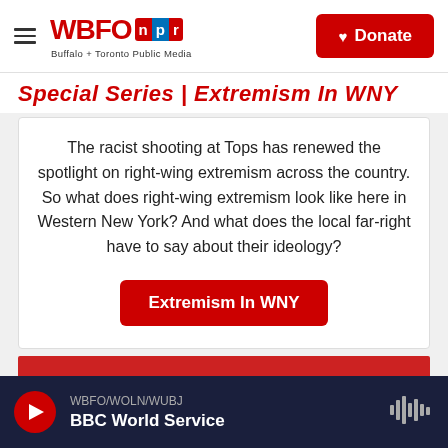WBFO NPR — Buffalo + Toronto Public Media | Donate
Special Series | Extremism In WNY
The racist shooting at Tops has renewed the spotlight on right-wing extremism across the country. So what does right-wing extremism look like here in Western New York? And what does the local far-right have to say about their ideology?
Extremism In WNY
[Figure (other): Red colored block/image area]
WBFO/WOLN/WUBJ — BBC World Service — Play button and waveform icon